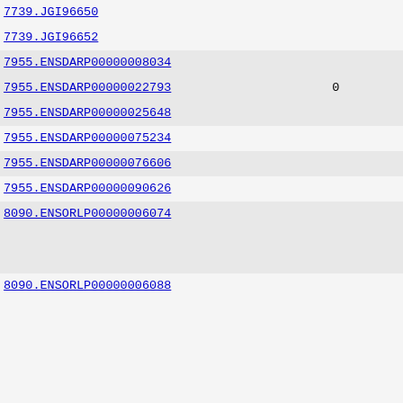| ID | Value |
| --- | --- |
| 7739.JGI96650 |  |
| 7739.JGI96652 |  |
| 7955.ENSDARP00000008034 |  |
| 7955.ENSDARP00000022793 | 0 |
| 7955.ENSDARP00000025648 |  |
| 7955.ENSDARP00000075234 |  |
| 7955.ENSDARP00000076606 |  |
| 7955.ENSDARP00000090626 |  |
| 8090.ENSORLP00000006074 |  |
|  |  |
| 8090.ENSORLP00000006088 |  |
|  |  |
|  |  |
|  |  |
| 8090.ENSORLP00000012177 |  |
| 8090.ENSORLP00000013299 |  |
| 8090.ENSORLP00000016364 |  |
| 8090.ENSORLP00000019822 |  |
| 8090.ENSORLP00000022348 |  |
| 8264.ENSYETR00000029997 |  |